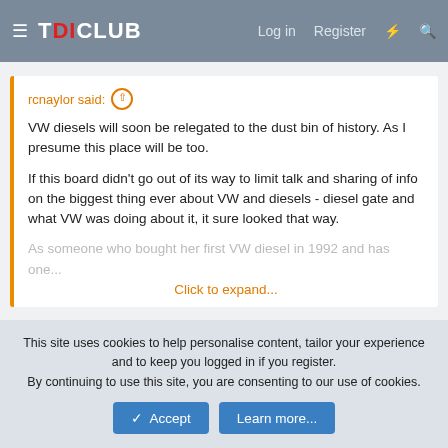TDICLUB  Log in  Register
rcnaylor said: ↑
VW diesels will soon be relegated to the dust bin of history. As I presume this place will be too.

If this board didn't go out of its way to limit talk and sharing of info on the biggest thing ever about VW and diesels - diesel gate and what VW was doing about it, it sure looked that way.

As someone who bought her first VW diesel in 1992 and has one...
Click to expand...
Welcome to Pennocks Fiero Forum. Choices and consequences and I am not just talking about what VW did ........
This site uses cookies to help personalise content, tailor your experience and to keep you logged in if you register.
By continuing to use this site, you are consenting to our use of cookies.
✓ Accept    Learn more...